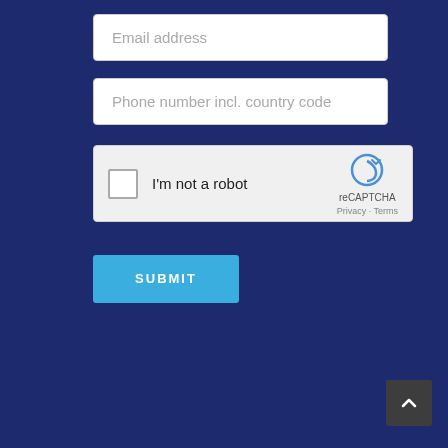Email address
Phone number incl. country code
[Figure (screenshot): reCAPTCHA widget with checkbox labeled 'I'm not a robot' and reCAPTCHA logo with Privacy and Terms links]
SUBMIT
[Figure (other): Back to top button with upward chevron arrow]